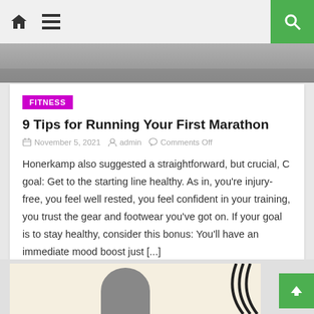HOME MENU SEARCH
[Figure (photo): Top strip photo of running/sport scene]
FITNESS
9 Tips for Running Your First Marathon
November 5, 2021  admin  Comments Off
Honerkamp also suggested a straightforward, but crucial, C goal: Get to the starting line healthy. As in, you're injury-free, you feel well rested, you feel confident in your training, you trust the gear and footwear you've got on. If your goal is to stay healthy, consider this bonus: You'll have an immediate mood boost just [...]
[Figure (photo): Bottom partial photo of a person running]